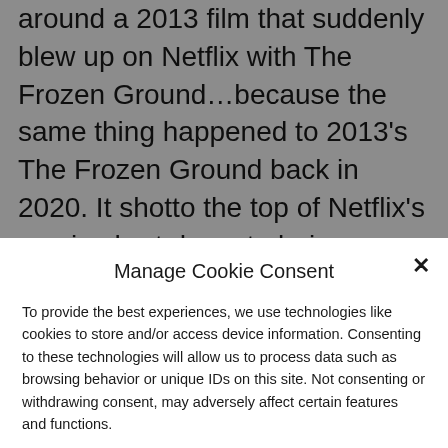around a 2013 film that suddenly blew up on Netflix with The Frozen Ground…because the same thing happened to 2013's The Frozen Ground back in 2020. It shotto the top of Netflix's movie chart despute being several years old. The Frozen Ground stars Nicolas Cage in the true story of the tracking and capture of Alaskan serial killer Robert Hansen (John Cusack).
Manage Cookie Consent
To provide the best experiences, we use technologies like cookies to store and/or access device information. Consenting to these technologies will allow us to process data such as browsing behavior or unique IDs on this site. Not consenting or withdrawing consent, may adversely affect certain features and functions.
Accept